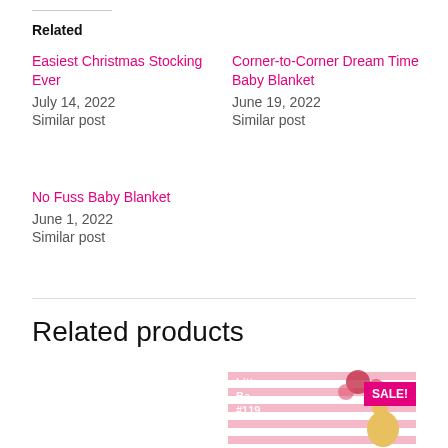Related
Easiest Christmas Stocking Ever
July 14, 2022
Similar post
Corner-to-Corner Dream Time Baby Blanket
June 19, 2022
Similar post
No Fuss Baby Blanket
June 1, 2022
Similar post
Related products
[Figure (photo): Baby doll sitting on a crocheted ripple blanket in green and white, wearing a purple hat and pink outfit. SALE! badge in pink.]
[Figure (photo): Pink crocheted baby blanket with stuffed giraffe toy and flowers background. Text overlay showing 'Litt... Ba... #119'. SALE! badge in pink.]